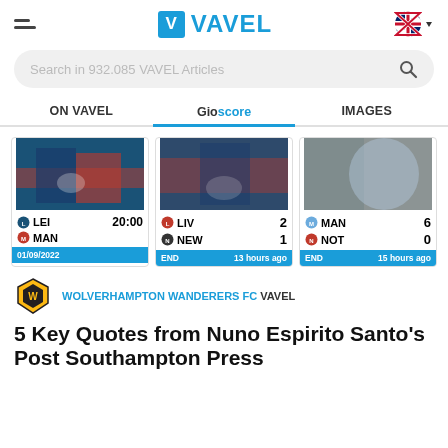VAVEL
Search in 932.085 VAVEL Articles
ON VAVEL | Gioscore | IMAGES
[Figure (screenshot): Three football match score cards: LEI vs MAN 20:00 on 01/09/2022; LIV 2 vs NEW 1 END 13 hours ago; MAN 6 vs NOT 0 END 15 hours ago]
WOLVERHAMPTON WANDERERS FC VAVEL
5 Key Quotes from Nuno Espirito Santo's Post Southampton Press